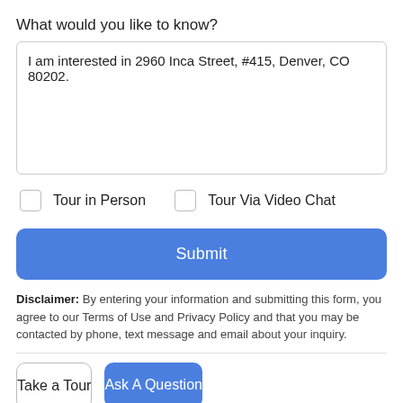What would you like to know?
I am interested in 2960 Inca Street, #415, Denver, CO 80202.
Tour in Person
Tour Via Video Chat
Submit
Disclaimer: By entering your information and submitting this form, you agree to our Terms of Use and Privacy Policy and that you may be contacted by phone, text message and email about your inquiry.
Take a Tour
Ask A Question